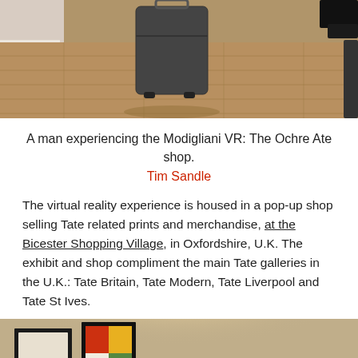[Figure (photo): Photo showing wood floor with a person's legs/feet in dark shoes visible at top right, and what appears to be dark luggage in the center. A white baseboard and wall are visible at top left.]
A man experiencing the Modigliani VR: The Ochre Ate shop.
Tim Sandle
The virtual reality experience is housed in a pop-up shop selling Tate related prints and merchandise, at the Bicester Shopping Village, in Oxfordshire, U.K. The exhibit and shop compliment the main Tate galleries in the U.K.: Tate Britain, Tate Modern, Tate Liverpool and Tate St Ives.
[Figure (photo): Photo showing an interior wall with warm beige/tan color and soft lighting, with two framed artworks visible - one appears to be a plain/neutral piece and another with colorful geometric blocks (red, yellow, green).]